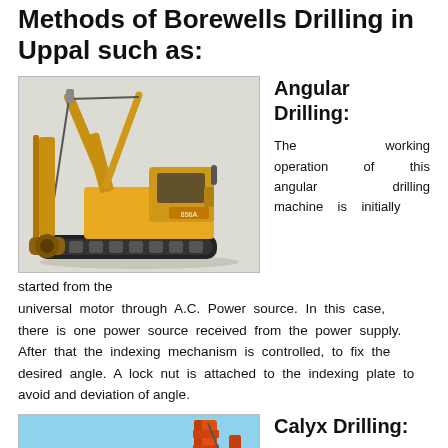Methods of Borewells Drilling in Uppal such as:
[Figure (photo): Yellow angular drilling machine/crane on tracks with drill attachment]
Angular Drilling:
The working operation of this angular drilling machine is initially started from the universal motor through A.C. Power source. In this case, there is one power source received from the power supply. After that the indexing mechanism is controlled, to fix the desired angle. A lock nut is attached to the indexing plate to avoid and deviation of angle.
[Figure (photo): Calyx drilling machine with orange/red equipment against blue sky background]
Calyx Drilling: